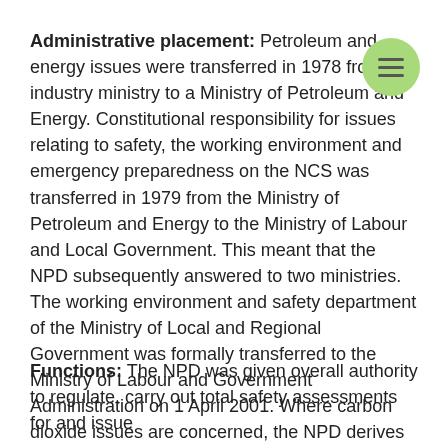Administrative placement: Petroleum and energy issues were transferred in 1978 from the industry ministry to a Ministry of Petroleum and Energy. Constitutional responsibility for issues relating to safety, the working environment and emergency preparedness on the NCS was transferred in 1979 from the Ministry of Petroleum and Energy to the Ministry of Labour and Local Government. This meant that the NPD subsequently answered to two ministries. The working environment and safety department of the Ministry of Local and Regional Government was formally transferred to the Ministry of Labour and Government Administration on 1 April 2001. Where carbon dioxide issues are concerned, the NPD derives its authority from the Ministry of Finance.
Functions: The NPD was given overall authority to regulate, carry out total safety assessments for and issue